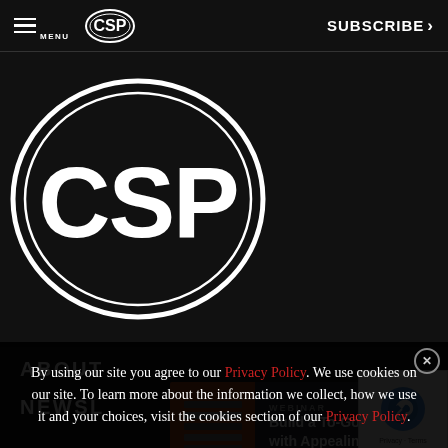MENU | CSP | SUBSCRIBE >
[Figure (logo): Large CSP logo on dark background — white oval with 'CSP' text inside double ellipse border]
ABOUT
NEWSL
[Figure (screenshot): Ad banner: WEBINAR - Build a To-Go Experience with Appealing Displays - ALTO-SHAAM]
[Figure (screenshot): reCAPTCHA widget with dove logo, Privacy · Terms]
By using our site you agree to our Privacy Policy. We use cookies on our site. To learn more about the information we collect, how we use it and your choices, visit the cookies section of our Privacy Policy.